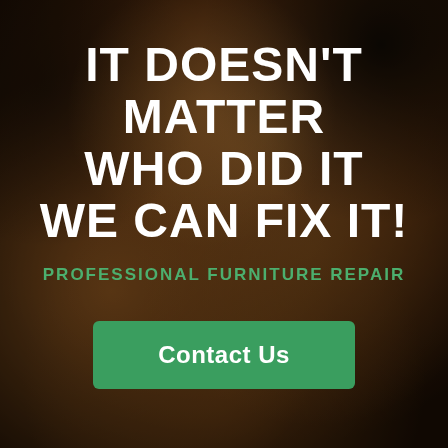[Figure (photo): Close-up photograph of a dog's fur/body, brown/golden tones, dark background, used as a background image behind furniture repair advertisement text]
IT DOESN'T MATTER WHO DID IT WE CAN FIX IT!
PROFESSIONAL FURNITURE REPAIR
Contact Us